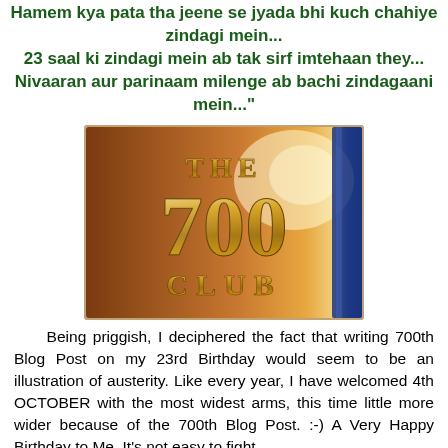Hamem kya pata tha jeene se jyada bhi kuch chahiye zindagi mein... 23 saal ki zindagi mein ab tak sirf imtehaan they... Nivaaran aur parinaam milenge ab bachi zindagaani mein..."
[Figure (photo): The 700 Club TV show logo/title card with golden metallic letters on a warm orange/bronze background with blue accent on the right side]
Being priggish, I deciphered the fact that writing 700th Blog Post on my 23rd Birthday would seem to be an illustration of austerity. Like every year, I have welcomed 4th OCTOBER with the most widest arms, this time little more wider because of the 700th Blog Post. :-) A Very Happy Birthday to Me. It's not easy to fight